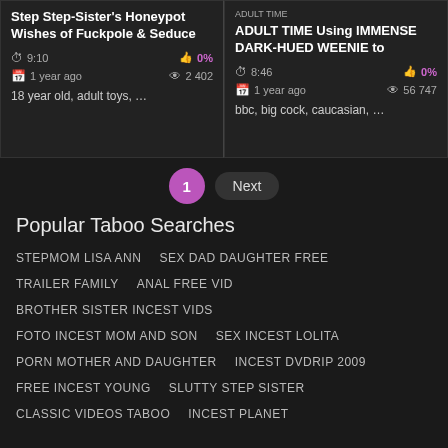[Figure (screenshot): Video card: Step Step-Sister's Honeypot Wishes of Fuckpole & Seduce, 9:10, 0%, 1 year ago, 2 402 views, tags: 18 year old, adult toys, ...]
[Figure (screenshot): Video card: ADULT TIME Using IMMENSE DARK-HUED WEENIE to, 8:46, 0%, 1 year ago, 56 747 views, tags: bbc, big cock, caucasian, ...]
1   Next
Popular Taboo Searches
STEPMOM LISA ANN   SEX DAD DAUGHTER FREE
TRAILER FAMILY   ANAL FREE VID
BROTHER SISTER INCEST VIDS
FOTO INCEST MOM AND SON   SEX INCEST LOLITA
PORN MOTHER AND DAUGHTER   INCEST DVDRIP 2009
FREE INCEST YOUNG   SLUTTY STEP SISTER
CLASSIC VIDEOS TABOO   INCEST PLANET